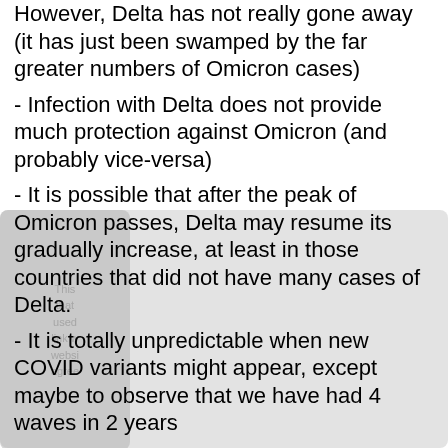However, Delta has not really gone away (it has just been swamped by the far greater numbers of Omicron cases)
- Infection with Delta does not provide much protection against Omicron (and probably vice-versa)
- It is possible that after the peak of Omicron passes, Delta may resume its gradually increase, at least in those countries that did not have many cases of Delta.
- It is totally unpredictable when new COVID variants might appear, except maybe to observe that we have had 4 waves in 2 years
- and guess that maybe there might be another one 6 months after Omicron (perhaps in July, the Southern Hemisphere winter season)
- The World Health Organization (Dr WHO) is keen to see worldwide vaccination rates reach 70% during 2022, as they expect that this will reduce the chance of new variants